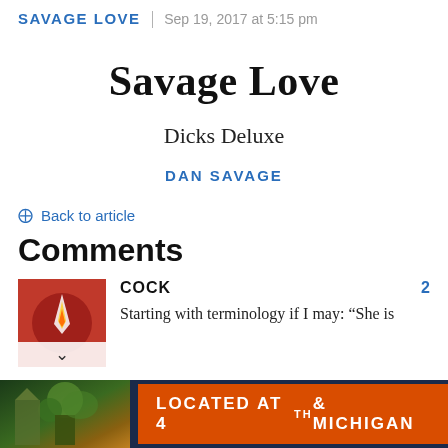SAVAGE LOVE | Sep 19, 2017 at 5:15 pm
Savage Love
Dicks Deluxe
DAN SAVAGE
⊕ Back to article
Comments
COCK
Starting with terminology if I may: “She is
[Figure (photo): Red avatar image with a flame/torch graphic, with a down chevron below]
[Figure (photo): Advertisement banner: colorful building photo on left, orange button reading LOCATED AT 4TH & MICHIGAN on dark navy background]